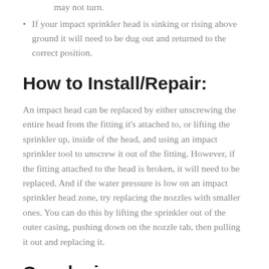may not turn.
If your impact sprinkler head is sinking or rising above ground it will need to be dug out and returned to the correct position.
How to Install/Repair:
An impact head can be replaced by either unscrewing the entire head from the fitting it's attached to, or lifting the sprinkler up, inside of the head, and using an impact sprinkler tool to unscrew it out of the fitting. However, if the fitting attached to the head is broken, it will need to be replaced. And if the water pressure is low on an impact sprinkler head zone, try replacing the nozzles with smaller ones. You can do this by lifting the sprinkler out of the outer casing, pushing down on the nozzle tab, then pulling it out and replacing it.
Conclusion
Still not convinced that an impact sprinkler head is right for